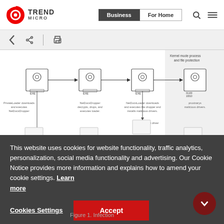Trend Micro — Business | For Home
[Figure (flowchart): Infection chain flowchart showing: PrivateLoader downloads and executes NetDocsDropper → NetDocsDropper decrypts, drops, and executes loader → NetDocsLoader downloads and executes the dropper and installs malicious drivers → proxinarys malicious drivers. Kernel mode process and file protection zone shown on right. 'Start driver' label visible.]
This website uses cookies for website functionality, traffic analytics, personalization, social media functionality and advertising. Our Cookie Notice provides more information and explains how to amend your cookie settings. Learn more
Figure 1. Infection...